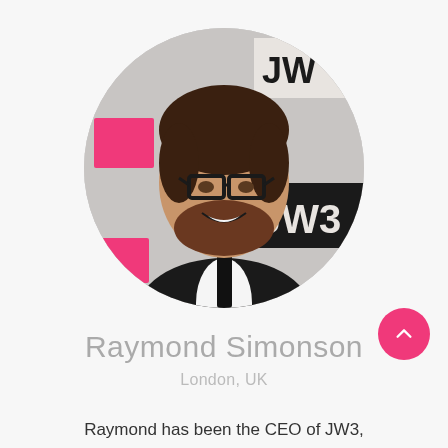[Figure (photo): Circular headshot photo of Raymond Simonson, a smiling man with glasses, dark curly hair and beard, wearing a dark suit and tie, against a JW3 branded backdrop]
Raymond Simonson
London, UK
Raymond has been the CEO of JW3, London's award-winning Jewish Community